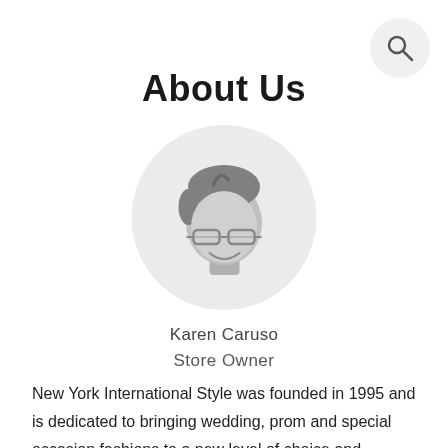[Figure (illustration): Search magnifying glass icon in a light gray circular button in the top-right corner]
About Us
[Figure (illustration): Circular avatar icon with a gray background showing a cartoon person with glasses and short dark hair, smiling]
Karen Caruso
Store Owner
New York International Style was founded in 1995 and is dedicated to bringing wedding, prom and special occasion fashions to a new level of choice and sophistication. Our retail store located in East Amherst NY along with our network of